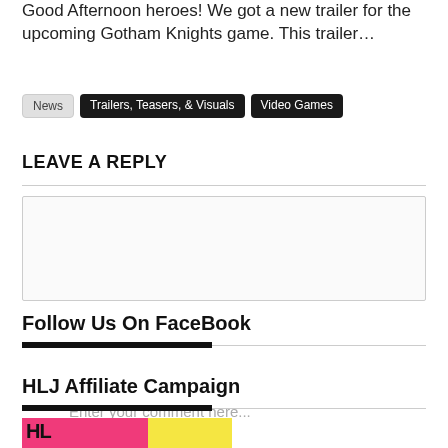Good Afternoon heroes! We got a new trailer for the upcoming Gotham Knights game. This trailer…
News | Trailers, Teasers, & Visuals | Video Games
LEAVE A REPLY
Enter your comment here...
Follow Us On FaceBook
HLJ Affiliate Campaign
[Figure (illustration): HLJ affiliate campaign banner with pink and yellow background and bold black letters]